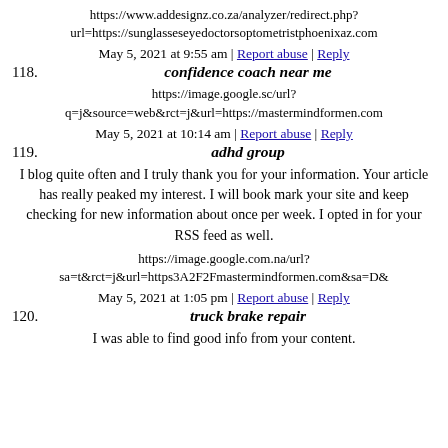https://www.addesignz.co.za/analyzer/redirect.php?url=https://sunglasseseyedoctorsoptometristphoenixaz.com
May 5, 2021 at 9:55 am | Report abuse | Reply
118. confidence coach near me
https://image.google.sc/url?q=j&source=web&rct=j&url=https://mastermindformen.com
May 5, 2021 at 10:14 am | Report abuse | Reply
119. adhd group
I blog quite often and I truly thank you for your information. Your article has really peaked my interest. I will book mark your site and keep checking for new information about once per week. I opted in for your RSS feed as well.
https://image.google.com.na/url?sa=t&rct=j&url=https3A2F2Fmastermindformen.com&sa=D&
May 5, 2021 at 1:05 pm | Report abuse | Reply
120. truck brake repair
I was able to find good info from your content.